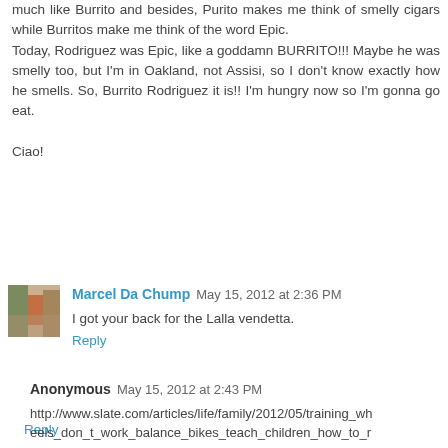much like Burrito and besides, Purito makes me think of smelly cigars while Burritos make me think of the word Epic.
Today, Rodriguez was Epic, like a goddamn BURRITO!!! Maybe he was smelly too, but I'm in Oakland, not Assisi, so I don't know exactly how he smells. So, Burrito Rodriguez it is!! I'm hungry now so I'm gonna go eat.

Ciao!
Reply
Marcel Da Chump  May 15, 2012 at 2:36 PM
I got your back for the Lalla vendetta.
Reply
Anonymous  May 15, 2012 at 2:43 PM
http://www.slate.com/articles/life/family/2012/05/training_wheels_don_t_work_balance_bikes_teach_children_how_to_r